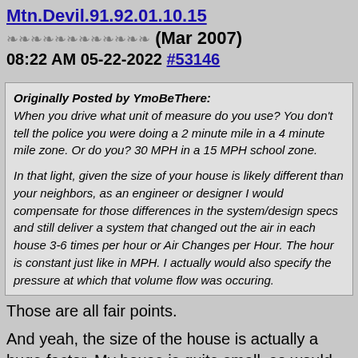Mtn.Devil.91.92.01.10.15 ❧❧❧❧❧❧❧❧❧❧❧❧ (Mar 2007)
08:22 AM 05-22-2022 #53146
Originally Posted by YmoBeThere:
When you drive what unit of measure do you use? You don't tell the police you were doing a 2 minute mile in a 4 minute mile zone. Or do you? 30 MPH in a 15 MPH school zone.

In that light, given the size of your house is likely different than your neighbors, as an engineer or designer I would compensate for those differences in the system/design specs and still deliver a system that changed out the air in each house 3-6 times per hour or Air Changes per Hour. The hour is constant just like in MPH. I actually would also specify the pressure at which that volume flow was occuring.
Those are all fair points.

And yeah, the size of the house is actually a huge factor. My house is quite small, so would probably result in more lunches/hr than the box would read.